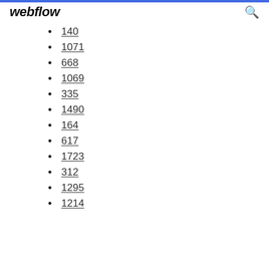webflow
140
1071
668
1069
335
1490
164
617
1723
312
1295
1214